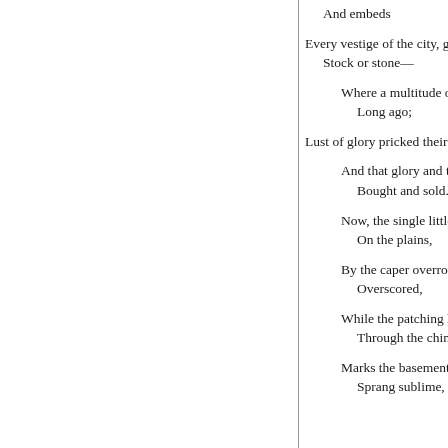And embeds

Every vestige of the city, guesse
    Stock or stone—

        Where a multitude of men
            Long ago;

Lust of glory pricked their heart

        And that glory and that sha
            Bought and sold.

        Now, the single little turret
            On the plains,

        By the caper overrooted, by
            Overscored,

        While the patching housele
            Through the chink

        Marks the basement whenc
            Sprang sublime,